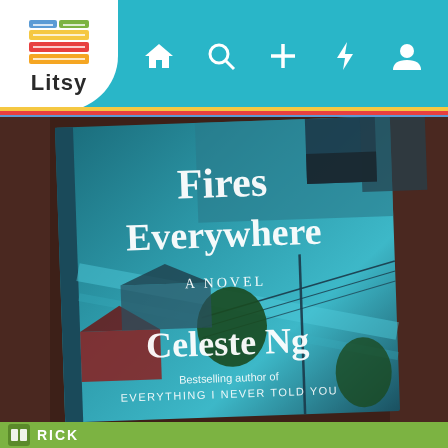[Figure (screenshot): Litsy app screenshot showing the book cover of 'Little Fires Everywhere: A Novel' by Celeste Ng, with the Litsy app header navigation bar at top and a green bottom bar with RICK text]
Litsy app header with logo and navigation icons: home, search, add, flash/activity, profile
[Figure (photo): Photo of the book 'Little Fires Everywhere: A Novel' by Celeste Ng placed on a dark brown knitted surface. The book cover shows an aerial view of a neighborhood in teal/blue tones. Text on cover: 'Fires Everywhere', 'A NOVEL', 'Celeste Ng', 'Bestselling author of EVERYTHING I NEVER TOLD YOU']
RICK